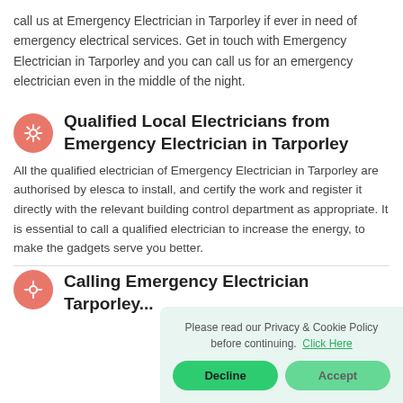call us at Emergency Electrician in Tarporley if ever in need of emergency electrical services. Get in touch with Emergency Electrician in Tarporley and you can call us for an emergency electrician even in the middle of the night.
Qualified Local Electricians from Emergency Electrician in Tarporley
All the qualified electrician of Emergency Electrician in Tarporley are authorised by elesca to install, and certify the work and register it directly with the relevant building control department as appropriate. It is essential to call a qualified electrician to increase the energy, to make the gadgets serve you better.
Please read our Privacy & Cookie Policy before continuing. Click Here
Calling Emergency Electrician Tarporley...